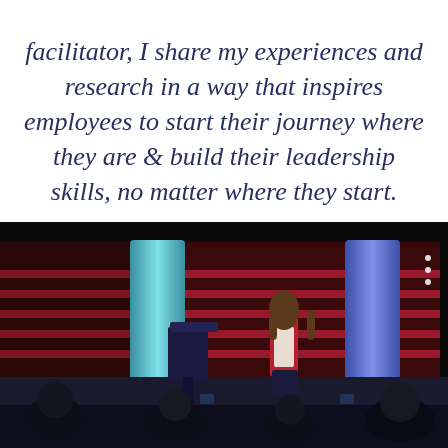facilitator, I share my experiences and research in a way that inspires employees to start their journey where they are & build their leadership skills, no matter where they start.
[Figure (photo): A woman in a red blazer speaking on a professional stage with blue and pink lit columns, dark red paneled backdrop, and an audience seated in the foreground.]